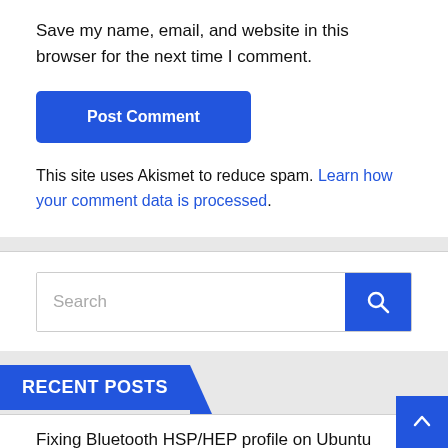Save my name, email, and website in this browser for the next time I comment.
Post Comment
This site uses Akismet to reduce spam. Learn how your comment data is processed.
[Figure (screenshot): Search bar with blue search button]
RECENT POSTS
Fixing Bluetooth HSP/HEP profile on Ubuntu